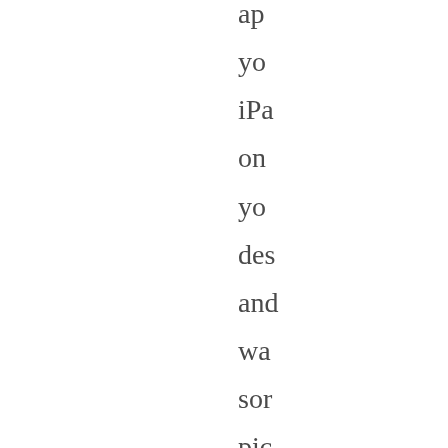ap yo iPa on yo des and wa sor pic on it. Th pro is ve we des and b